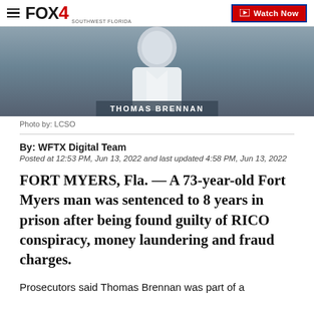FOX4 | Watch Now
[Figure (photo): Mugshot-style photo of Thomas Brennan with a dark grey background and white overlay text 'THOMAS BRENNAN' at the bottom.]
Photo by: LCSO
By: WFTX Digital Team
Posted at 12:53 PM, Jun 13, 2022 and last updated 4:58 PM, Jun 13, 2022
FORT MYERS, Fla. — A 73-year-old Fort Myers man was sentenced to 8 years in prison after being found guilty of RICO conspiracy, money laundering and fraud charges.
Prosecutors said Thomas Brennan was part of a